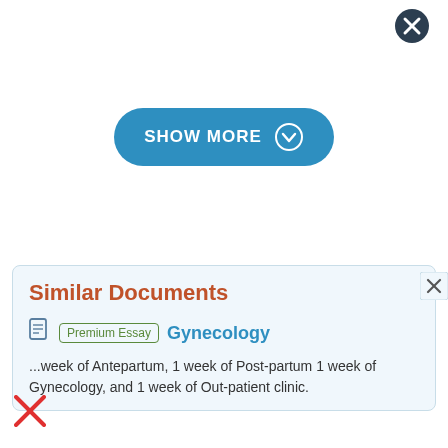[Figure (other): Close button circle with X icon in dark navy, top right corner]
[Figure (other): SHOW MORE button with chevron down icon, blue rounded pill shape]
Similar Documents
Premium Essay  Gynecology
...week of Antepartum, 1 week of Post-partum 1 week of Gynecology, and 1 week of Out-patient clinic.